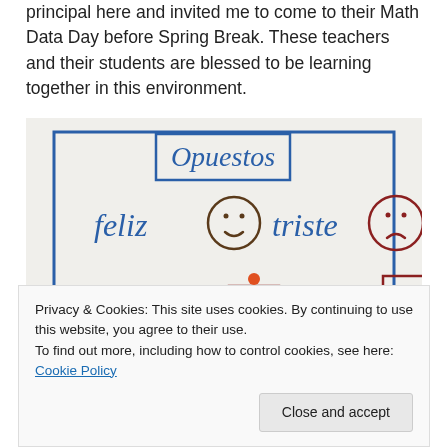principal here and invited me to come to their Math Data Day before Spring Break. These teachers and their students are blessed to be learning together in this environment.
[Figure (photo): Whiteboard showing Spanish opposites (Opuestos): feliz with smiley face, triste with sad face, arriba with dot above box, abajo with dot below box]
Privacy & Cookies: This site uses cookies. By continuing to use this website, you agree to their use.
To find out more, including how to control cookies, see here: Cookie Policy
Close and accept